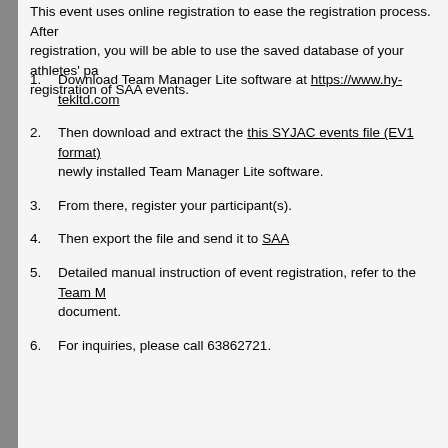This event uses online registration to ease the registration process. After registration, you will be able to use the saved database of your athletes' pa... registration of SAA events.
1. Download Team Manager Lite software at https://www.hy-tekltd.com
2. Then download and extract the this SYJAC events file (EV1 format) ... newly installed Team Manager Lite software.
3. From there, register your participant(s).
4. Then export the file and send it to SAA
5. Detailed manual instruction of event registration, refer to the Team M... document.
6. For inquiries, please call 63862721.